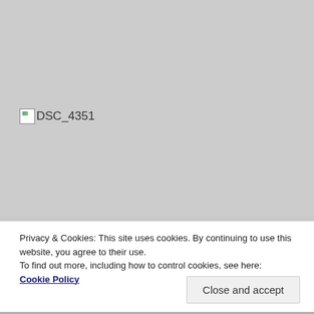[Figure (photo): Broken image placeholder for DSC_4351 on a grey background]
Privacy & Cookies: This site uses cookies. By continuing to use this website, you agree to their use.
To find out more, including how to control cookies, see here: Cookie Policy
Close and accept